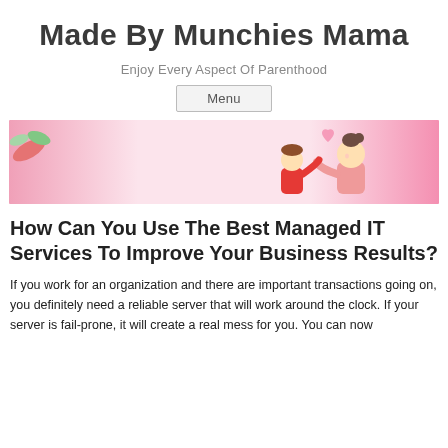Made By Munchies Mama
Enjoy Every Aspect Of Parenthood
Menu
[Figure (illustration): A pink banner with a cartoon illustration of two women hugging, with a heart in the background, on a pink gradient background.]
How Can You Use The Best Managed IT Services To Improve Your Business Results?
If you work for an organization and there are important transactions going on, you definitely need a reliable server that will work around the clock. If your server is fail-prone, it will create a real mess for you. You can now